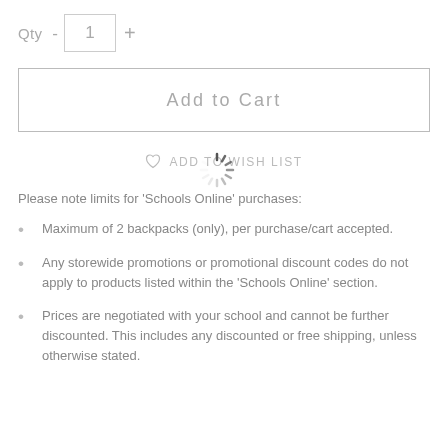Qty  -  1  +
Add to Cart
♡ ADD TO WISH LIST
Please note limits for 'Schools Online' purchases:
Maximum of 2 backpacks (only), per purchase/cart accepted.
Any storewide promotions or promotional discount codes do not apply to products listed within the 'Schools Online' section.
Prices are negotiated with your school and cannot be further discounted. This includes any discounted or free shipping, unless otherwise stated.